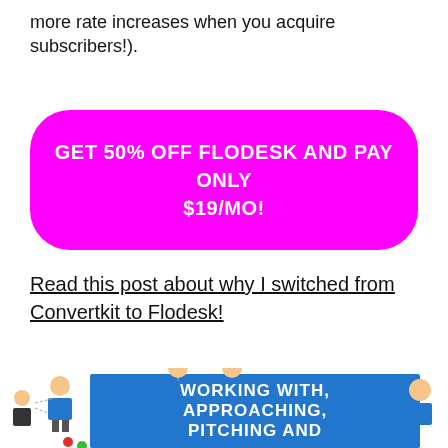more rate increases when you acquire subscribers!).
GET 50% OFF FLODESK AND PAY ONLY $19/MO!
Read this post about why I switched from Convertkit to Flodesk!
[Figure (illustration): Infographic showing people connected in a network with a blue rectangle in the center reading: WORKING WITH, APPROACHING, PITCHING AND NEGOTIATING WITH]